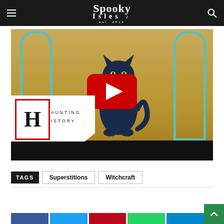Spooky Isles
[Figure (screenshot): YouTube video thumbnail showing an Egyptian cat (Bastet) painting with pillars on either side. A red YouTube play button is centered. A 'Haunting History' logo badge overlays the lower left corner.]
TAGS   Superstitions   Witchcraft